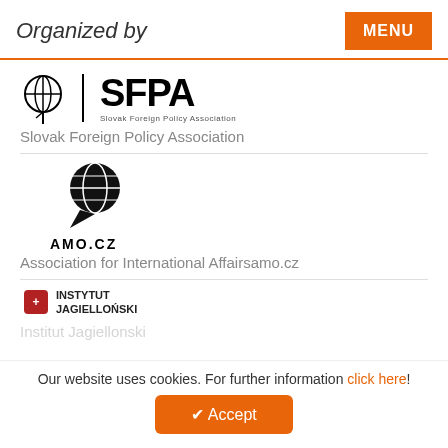Organized by
[Figure (logo): SFPA - Slovak Foreign Policy Association logo with globe icon and large SFPA text]
Slovak Foreign Policy Association
[Figure (logo): AMO.CZ logo with stylized globe/chat bubble icon and AMO.CZ text]
Association for International Affairsamo.cz
[Figure (logo): Instytut Jagiellonski logo with red badge containing cross and text]
Institut Jagiellonski
Our website uses cookies. For further information click here!